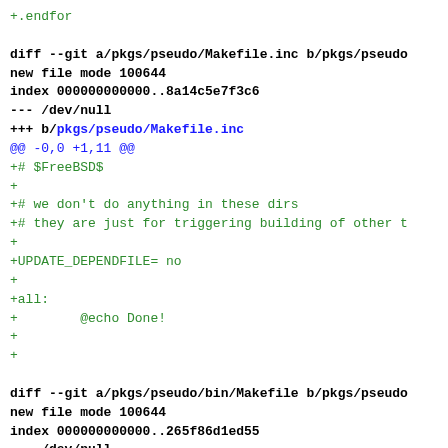+.endfor

diff --git a/pkgs/pseudo/Makefile.inc b/pkgs/pseudo
new file mode 100644
index 000000000000..8a14c5e7f3c6
--- /dev/null
+++ b/pkgs/pseudo/Makefile.inc
@@ -0,0 +1,11 @@
+# $FreeBSD$
+
+# we don't do anything in these dirs
+# they are just for triggering building of other t
+
+UPDATE_DEPENDFILE= no
+
+all:
+        @echo Done!
+
+

diff --git a/pkgs/pseudo/bin/Makefile b/pkgs/pseudo
new file mode 100644
index 000000000000..265f86d1ed55
--- /dev/null
+++ b/pkgs/pseudo/bin/Makefile
@@ -0,0 +1,3 @@
+# $FreeBSD$
+
+.include "../Makefile.inc"